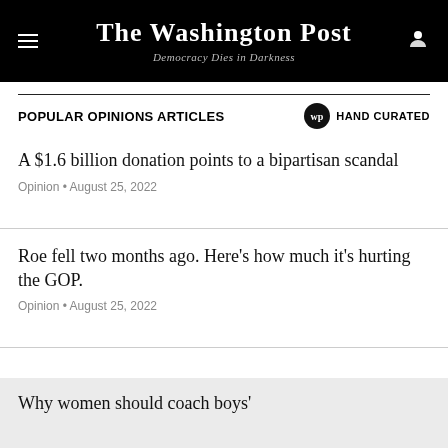The Washington Post — Democracy Dies in Darkness
POPULAR OPINIONS ARTICLES  HAND CURATED
A $1.6 billion donation points to a bipartisan scandal
Opinion • August 25, 2022
Roe fell two months ago. Here's how much it's hurting the GOP.
Opinion • August 25, 2022
Why women should coach boys'